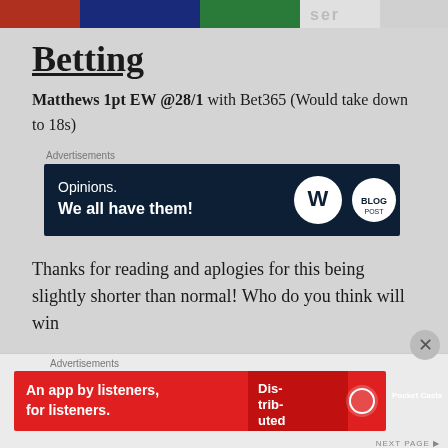[Figure (photo): Partial top banner image showing sports/cycling imagery with colorful jerseys and partial logo text]
Betting
Matthews 1pt EW @28/1 with Bet365 (Would take down to 18s)
[Figure (infographic): Advertisement banner: dark navy background with text 'Opinions. We all have them!' and WordPress and blog logos]
Thanks for reading and aplogies for this being slightly shorter than normal! Who do you think will win
[Figure (infographic): Advertisement banner: red background with 'An app by listeners, for listeners.' and Pocket Casts logo, with phone image showing 'Distributed' text]